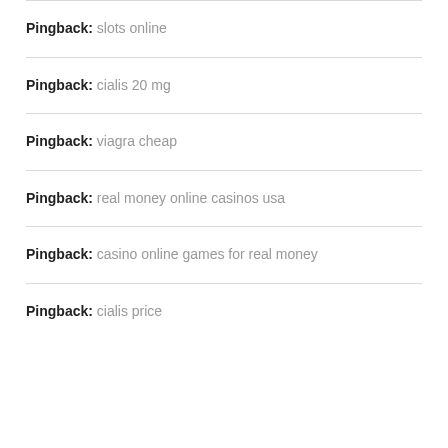Pingback: slots online
Pingback: cialis 20 mg
Pingback: viagra cheap
Pingback: real money online casinos usa
Pingback: casino online games for real money
Pingback: cialis price